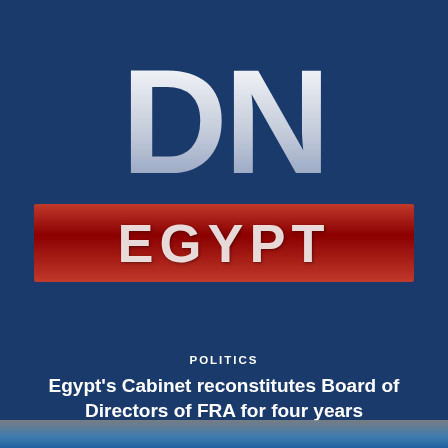[Figure (logo): DN Egypt news outlet logo — large white 'DN' letters on dark blue background, with 'EGYPT' in white text on a red bar below]
POLITICS
Egypt's Cabinet reconstitutes Board of Directors of FRA for four years